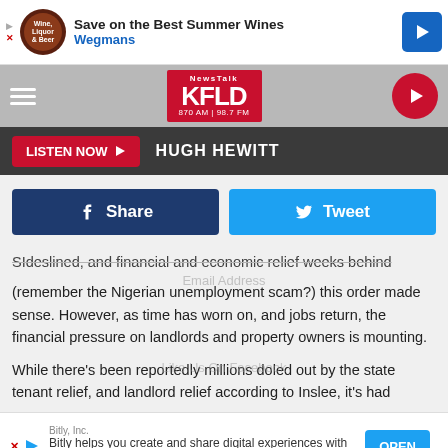[Figure (screenshot): Advertisement banner for Wegmans wine store: Save on the Best Summer Wines, with store logo and navigation arrow]
[Figure (logo): NewsTalk KFLD 870 AM | 98.7 FM radio station logo in red]
LISTEN NOW  HUGH HEWITT
[Figure (screenshot): Social share buttons: Facebook Share (dark blue) and Tweet (light blue)]
SIdeslined, and financial and economic relief weeks behind (remember the Nigerian unemployment scam?) this order made sense. However, as time has worn on, and jobs return, the financial pressure on landlords and property owners is mounting.
While there's been reportedly millions doled out by the state tenant relief, and landlord relief according to Inslee, it's had
[Figure (screenshot): Bottom advertisement: Bitly, Inc. - Bitly helps you create and share digital experiences with custom QR Codes. OPEN button.]